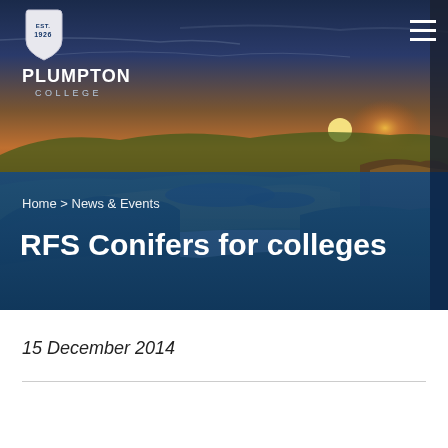[Figure (photo): Aerial landscape photo of rolling green hills and fields at sunset/dusk with dramatic sky, used as hero banner for Plumpton College website. Logo with shield emblem showing EST 1926 and PLUMPTON COLLEGE text overlaid top-left. Hamburger menu icon top-right.]
Home > News & Events
RFS Conifers for colleges
15 December 2014